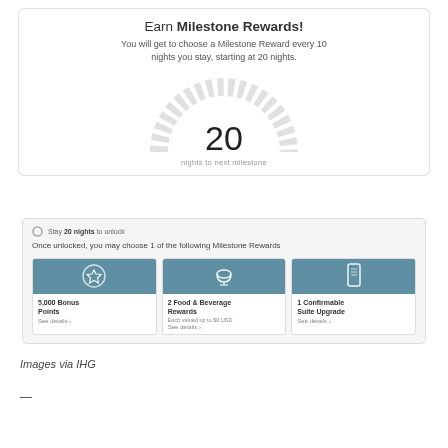Earn Milestone Rewards!
You will get to choose a Milestone Reward every 10 nights you stay, starting at 20 nights.
[Figure (infographic): Semicircular gauge showing 20 nights to next milestone with tick marks around the arc and the number 20 in the center, labeled 'nights to next milestone']
[Figure (infographic): UI card showing milestone rewards options: 'Stay 20 nights to unlock', then 'Once unlocked, you may choose 1 of the following Milestone Rewards' with three options: 5,000 Bonus Points, 2 Food & Beverage Rewards, 1 Confirmable Suite Upgrade]
Images via IHG